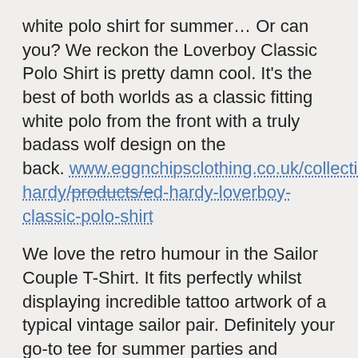white polo shirt for summer… Or can you? We reckon the Loverboy Classic Polo Shirt is pretty damn cool. It's the best of both worlds as a classic fitting white polo from the front with a truly badass wolf design on the back. www.eggnchipsclothing.co.uk/collections/ed-hardy/products/ed-hardy-loverboy-classic-polo-shirt
We love the retro humour in the Sailor Couple T-Shirt. It fits perfectly whilst displaying incredible tattoo artwork of a typical vintage sailor pair. Definitely your go-to tee for summer parties and barbecued! www.eggnchipsclothing.co.uk/collections/ed-hardy/products/ed-hardy-sailor-couple-t-shirt
[Figure (photo): Small image placeholder icon for Keith Richards Blue Panther Sweater]
Keith Richards Blue Panther SweaterCrew neck sweatshirts are great for chucking on after a session at the gym. Show off your edgy alternative style whilst